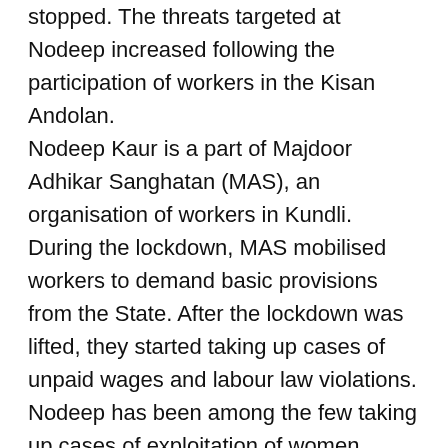stopped. The threats targeted at Nodeep increased following the participation of workers in the Kisan Andolan.
Nodeep Kaur is a part of Majdoor Adhikar Sanghatan (MAS), an organisation of workers in Kundli. During the lockdown, MAS mobilised workers to demand basic provisions from the State. After the lockdown was lifted, they started taking up cases of unpaid wages and labour law violations. Nodeep has been among the few taking up cases of exploitation of women workers in the area. The issues being taken up by the MAS brought the ire of the local reactionary Hindu Jagriti Manch, members of which violently attacked a meeting called by the MAS on May 24th 2020 to address the lack of food provisions for migrant workers stuck in